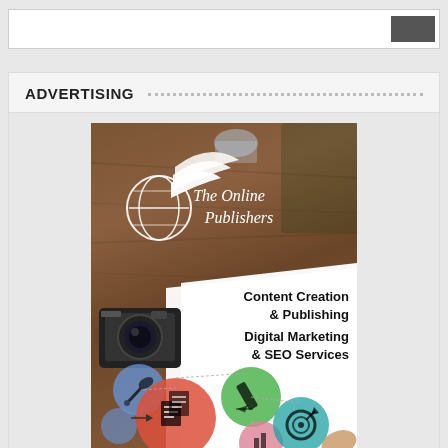ADVERTISING
[Figure (illustration): Advertisement for The Online Publishers showing a logo with globe and feathers, camera, colorful circles with icons (content, pencil, target, chart), on a wood background with white paper. Text reads: Content Creation & Publishing, Digital Marketing & SEO Services]